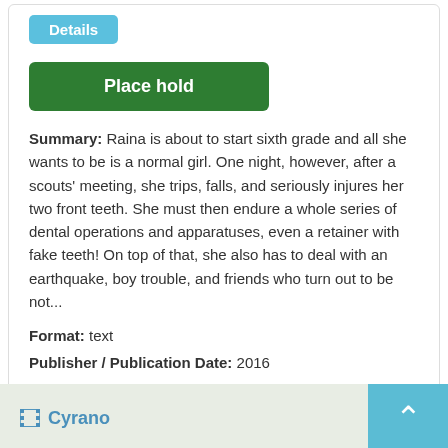Details
Place hold
Summary: Raina is about to start sixth grade and all she wants to be is a normal girl. One night, however, after a scouts' meeting, she trips, falls, and seriously injures her two front teeth. She must then endure a whole series of dental operations and apparatuses, even a retainer with fake teeth! On top of that, she also has to deal with an earthquake, boy trouble, and friends who turn out to be not...
Format: text
Publisher / Publication Date: 2016
Copies Available at Suttons Bay
1 available in Juvenile Non-fiction, Call number: SPANISH J 741.5 Telgemeier
Cyrano